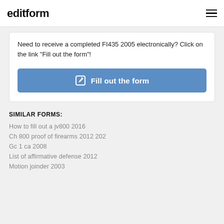editform
Need to receive a completed FI435 2005 electronically? Click on the link "Fill out the form"!
[Figure (other): Blue button labeled 'Fill out the form' with an edit/pencil icon]
SIMILAR FORMS:
How to fill out a jv800 2016
Ch 800 proof of firearms 2012 202
Gc 1 ca 2008
List of affirmative defense 2012
Motion joinder 2003